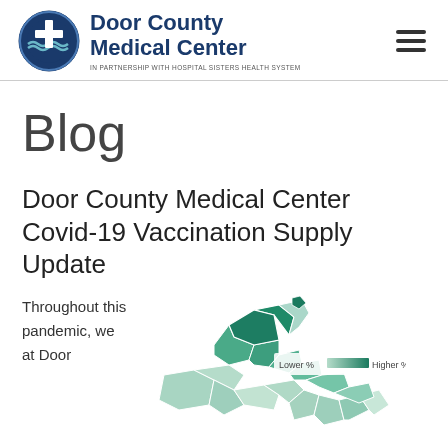Door County Medical Center — In Partnership with Hospital Sisters Health System
Blog
Door County Medical Center Covid-19 Vaccination Supply Update
Throughout this pandemic, we at Door
[Figure (map): Choropleth map of Door County Wisconsin showing vaccination rates by municipality, shaded from light teal (Lower %) to dark teal (Higher %). Legend shows 'Lower %' to 'Higher %'.]